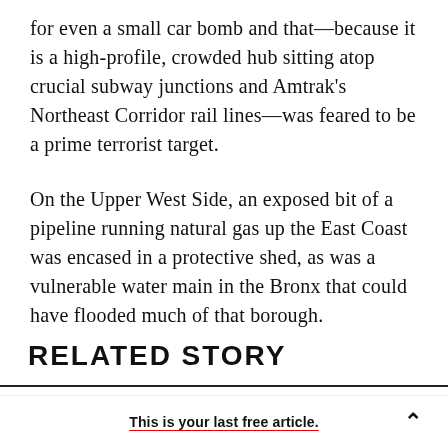for even a small car bomb and that—because it is a high-profile, crowded hub sitting atop crucial subway junctions and Amtrak's Northeast Corridor rail lines—was feared to be a prime terrorist target.
On the Upper West Side, an exposed bit of a pipeline running natural gas up the East Coast was encased in a protective shed, as was a vulnerable water main in the Bronx that could have flooded much of that borough.
RELATED STORY
This is your last free article.